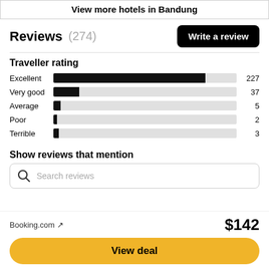View more hotels in Bandung
Reviews (274)
[Figure (bar-chart): Traveller rating]
Show reviews that mention
Search reviews
Booking.com ↗
$142
View deal